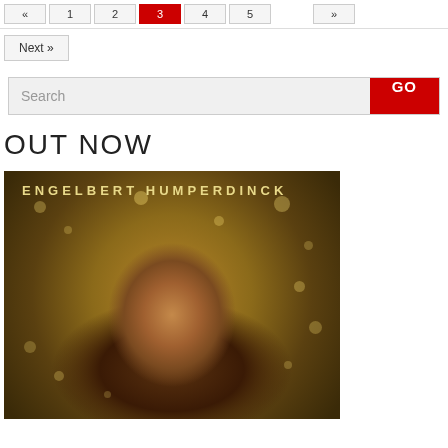Next »
Search GO
OUT NOW
[Figure (photo): Album cover for Engelbert Humperdinck showing the artist's face against a golden bokeh background with text 'ENGELBERT HUMPERDINCK' at the top in gold letters]